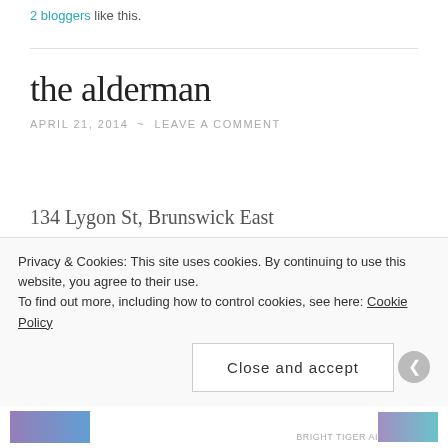2 bloggers like this.
the alderman
APRIL 21, 2014  ~  LEAVE A COMMENT
134 Lygon St, Brunswick East
+61 3 9380 9003
If you ever wondered what the touristy end of Lygon Street used to be before it got all honky-tonk, wander
Privacy & Cookies: This site uses cookies. By continuing to use this website, you agree to their use.
To find out more, including how to control cookies, see here: Cookie Policy
Close and accept